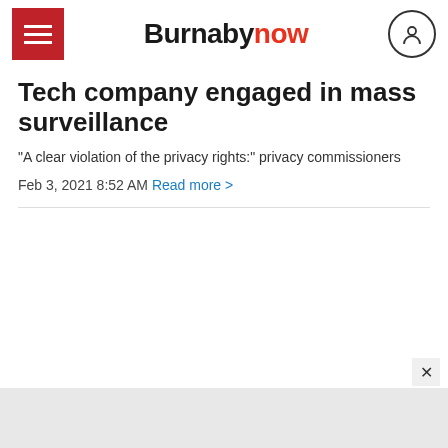Burnabynow
Tech company engaged in mass surveillance
“A clear violation of the privacy rights:” privacy commissioners
Feb 3, 2021 8:52 AM Read more >